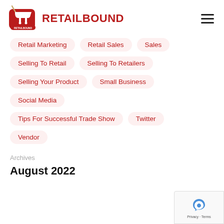RETAILBOUND
Retail Marketing
Retail Sales
Sales
Selling To Retail
Selling To Retailers
Selling Your Product
Small Business
Social Media
Tips For Successful Trade Show
Twitter
Vendor
Archives
August 2022